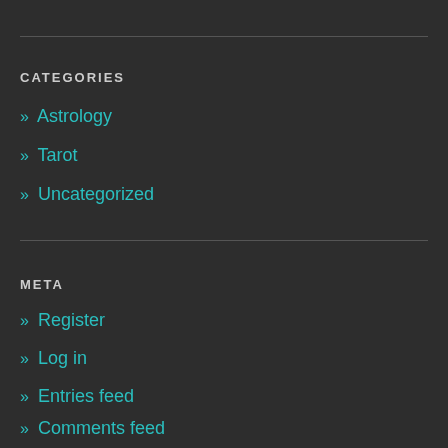CATEGORIES
» Astrology
» Tarot
» Uncategorized
META
» Register
» Log in
» Entries feed
» Comments feed
» WordPress.com